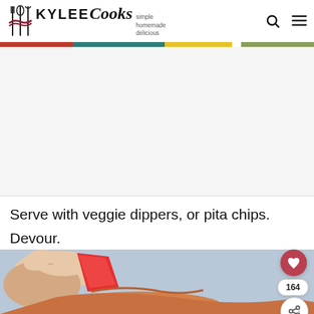KYLEE Cooks — simple homemade delicious
[Figure (photo): Advertisement placeholder — light gray box]
Serve with veggie dippers, or pita chips.
Devour.
[Figure (photo): Close-up photo of a hand holding a red pepper strip being dipped into an orange/tan dip, with a heart button (164 likes) and share button visible on the right side]